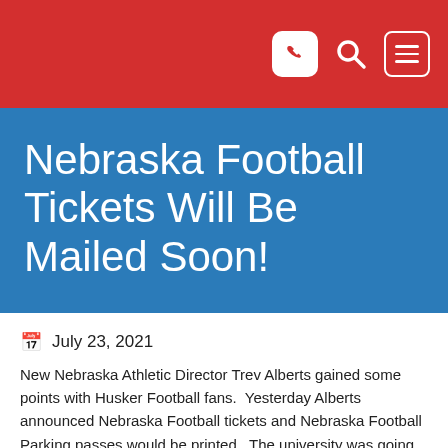[Navigation bar with phone, search, and menu icons]
Nebraska Football Tickets Will Be Mailed Soon!
July 23, 2021
New Nebraska Athletic Director Trev Alberts gained some points with Husker Football fans.  Yesterday Alberts announced Nebraska Football tickets and Nebraska Football Parking passes would be printed.  The university was going to do mobile only tickets, but the fans smoke and Alberts listened.  The Nebraska Ticket Office says Husker Football Season tickets will be mailed around August 9th.